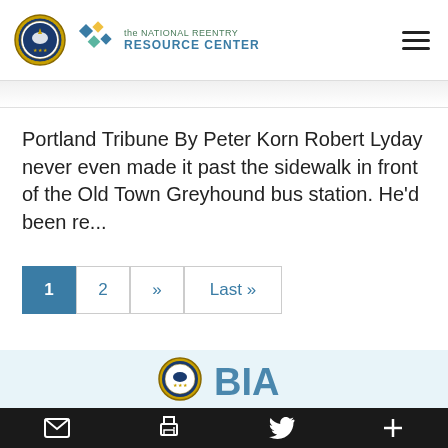the NATIONAL REENTRY RESOURCE CENTER
Portland Tribune By Peter Korn Robert Lyday never even made it past the sidewalk in front of the Old Town Greyhound bus station. He'd been re...
Pagination: 1 2 » Last »
[Figure (logo): Partial BIA/DOJ logo visible at bottom of page]
Bottom toolbar with email, print, Twitter, and plus icons